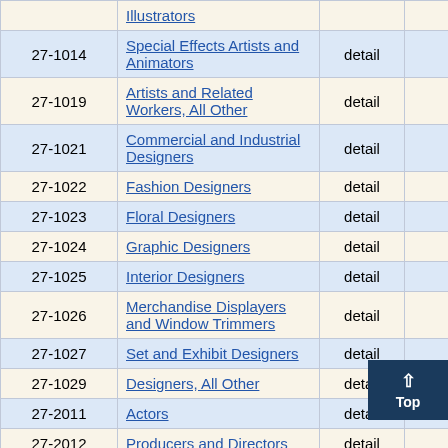| Code | Occupation | Level | Employment | ... |
| --- | --- | --- | --- | --- |
|  | Illustrators |  |  |  |
| 27-1014 | Special Effects Artists and Animators | detail | 240 | 16 |
| 27-1019 | Artists and Related Workers, All Other | detail | 1,540 | 0 |
| 27-1021 | Commercial and Industrial Designers | detail | 220 | 29 |
| 27-1022 | Fashion Designers | detail | (8) |  |
| 27-1023 | Floral Designers | detail | 550 | 5 |
| 27-1024 | Graphic Designers | detail | 5,020 | 5 |
| 27-1025 | Interior Designers | detail | 1,680 | 10 |
| 27-1026 | Merchandise Displayers and Window Trimmers | detail | 2,130 | 6 |
| 27-1027 | Set and Exhibit Designers | detail | 310 | 12 |
| 27-1029 | Designers, All Other | detail | 120 | 31 |
| 27-2011 | Actors | detail | 380 | 27 |
| 27-2012 | Producers and Directors | detail | 3,65... |  |
| 27-2021 | Athletes and Sports ... | detail | 190 | 22 |